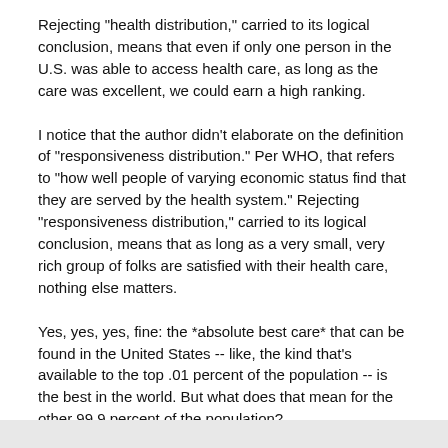Rejecting "health distribution," carried to its logical conclusion, means that even if only one person in the U.S. was able to access health care, as long as the care was excellent, we could earn a high ranking.
I notice that the author didn't elaborate on the definition of "responsiveness distribution." Per WHO, that refers to "how well people of varying economic status find that they are served by the health system." Rejecting "responsiveness distribution," carried to its logical conclusion, means that as long as a very small, very rich group of folks are satisfied with their health care, nothing else matters.
Yes, yes, yes, fine: the *absolute best care* that can be found in the United States -- like, the kind that's available to the top .01 percent of the population -- is the best in the world. But what does that mean for the other 99.9 percent of the population?